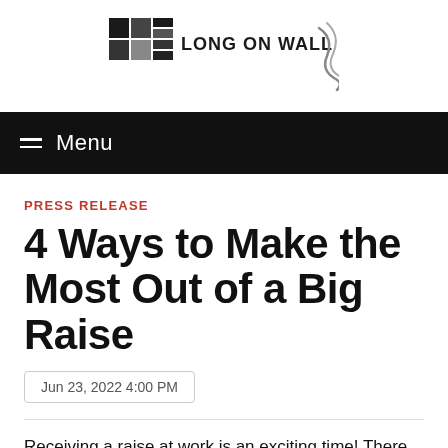LONG ON WALL & BROAD
Menu
PRESS RELEASE
4 Ways to Make the Most Out of a Big Raise
Jun 23, 2022 4:00 PM
Receiving a raise at work is an exciting time! There